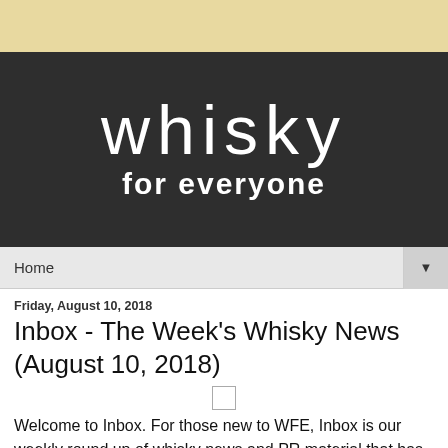[Figure (logo): Whisky for everyone logo — white text on dark grey/charcoal background. Large 'whisky' in light weight font, 'for everyone' in bold below.]
Home ▼
Friday, August 10, 2018
Inbox - The Week's Whisky News (August 10, 2018)
Welcome to Inbox.  For those new to WFE, Inbox is our weekly round up of whisky news and PR material that has found its way in to our email inbox. It was created as we cannot write full articles or do justice to every piece received.